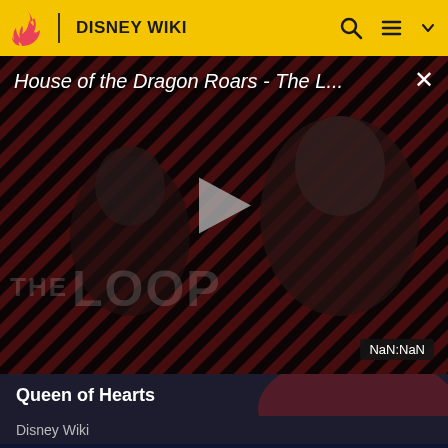DISNEY WIKI
[Figure (screenshot): Video player showing 'House of the Dragon Roars - The L...' with diagonal red and dark stripe background, play button in center, 'THE LOOP' watermark text, and NaN:NaN duration badge]
House of the Dragon Roars - The L...
Queen of Hearts
Disney Wiki
[Figure (screenshot): Partial card thumbnail showing bottom portion of Disney Wiki video with dark blue background and partial orange/yellow shape visible]